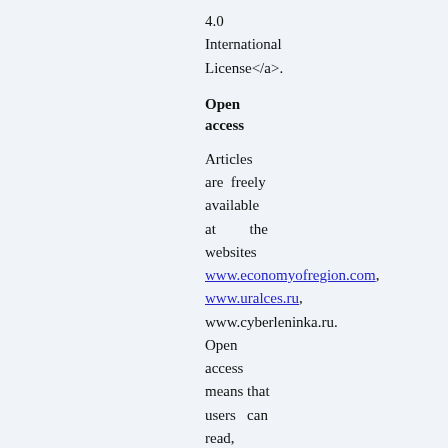4.0 International License</a>.
Open access
Articles are freely available at the websites www.economyofregion.com, www.uralces.ru, www.cyberleninka.ru. Open access means that users can read, download, copy, distribute, print, search, or link to the full texts of the articles.